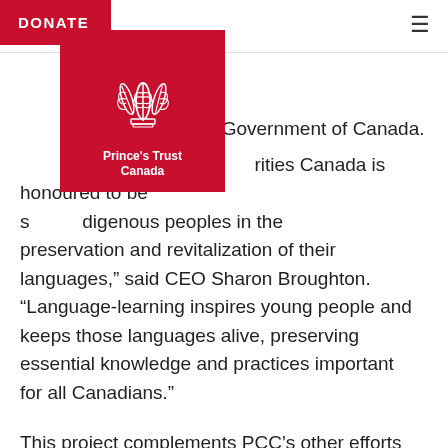DONATE
[Figure (logo): Prince's Trust Canada logo — red square background with white fleur-de-lis / feathers emblem and text 'Prince's Trust Canada']
s the Government of Canada.
“ rities Canada is honoured to be s digenous peoples in the preservation and revitalization of their languages,” said CEO Sharon Broughton. “Language-learning inspires young people and keeps those languages alive, preserving essential knowledge and practices important for all Canadians.”
This project complements PCC’s other efforts in Indigenous languages revitalization. These include the recent completion of a project which distributed Inuktitut children’s books to